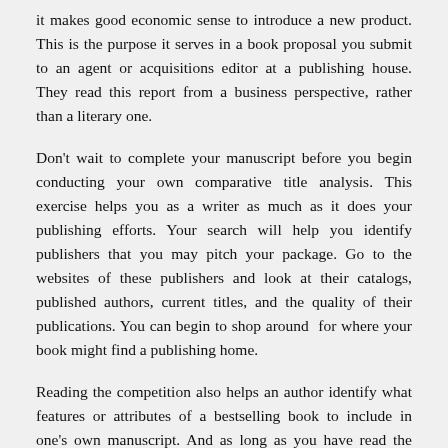it makes good economic sense to introduce a new product. This is the purpose it serves in a book proposal you submit to an agent or acquisitions editor at a publishing house. They read this report from a business perspective, rather than a literary one.
Don't wait to complete your manuscript before you begin conducting your own comparative title analysis. This exercise helps you as a writer as much as it does your publishing efforts. Your search will help you identify publishers that you may pitch your package. Go to the websites of these publishers and look at their catalogs, published authors, current titles, and the quality of their publications. You can begin to shop around  for where your book might find a publishing home.
Reading the competition also helps an author identify what features or attributes of a bestselling book to include in one's own manuscript. And as long as you have read the books, you can help build your audience